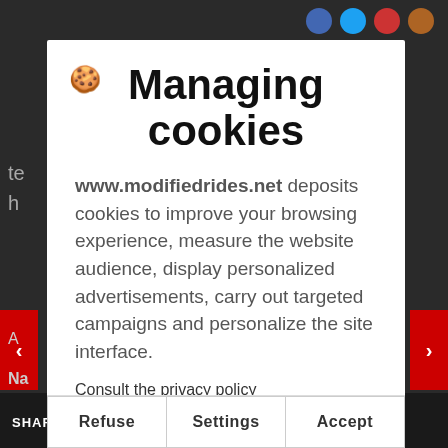[Figure (screenshot): Dark background website page with red navigation arrows on left and right sides, bottom bar with SHARES label]
Managing cookies
www.modifiedrides.net deposits cookies to improve your browsing experience, measure the website audience, display personalized advertisements, carry out targeted campaigns and personalize the site interface.
Consult the privacy policy
Refuse
Settings
Accept
SHARES